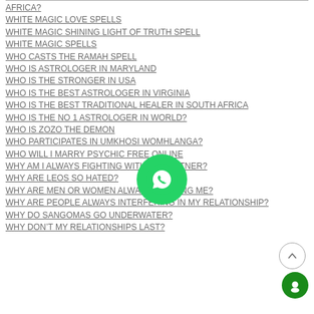AFRICA?
WHITE MAGIC LOVE SPELLS
WHITE MAGIC SHINING LIGHT OF TRUTH SPELL
WHITE MAGIC SPELLS
WHO CASTS THE RAMAH SPELL
WHO IS ASTROLOGER IN MARYLAND
WHO IS THE STRONGER IN USA
WHO IS THE BEST ASTROLOGER IN VIRGINIA
WHO IS THE BEST TRADITIONAL HEALER IN SOUTH AFRICA
WHO IS THE NO 1 ASTROLOGER IN WORLD?
WHO IS ZOZO THE DEMON
WHO PARTICIPATES IN UMKHOSI WOMHLANGA?
WHO WILL I MARRY PSYCHIC FREE ONLINE
WHY AM I ALWAYS FIGHTING WITH MY PARTNER?
WHY ARE LEOS SO HATED?
WHY ARE MEN OR WOMEN ALWAYS AVOIDING ME?
WHY ARE PEOPLE ALWAYS INTERFERING IN MY RELATIONSHIP?
WHY DO SANGOMAS GO UNDERWATER?
WHY DON'T MY RELATIONSHIPS LAST?